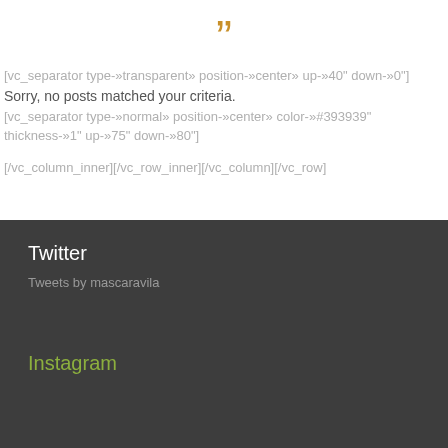”
[vc_separator type-»tr ansparent» position-»center» up-»40" down-»0"]
Sorry, no posts matched your criteria.
[vc_separator type-»normal» position-»center» color-»#393939" thickness-»1" up-»75" down-»80"]
[/vc_column_inner][/vc_row_inner][/vc_column][/vc_row]
Twitter
Tweets by mascaravila
Instagram